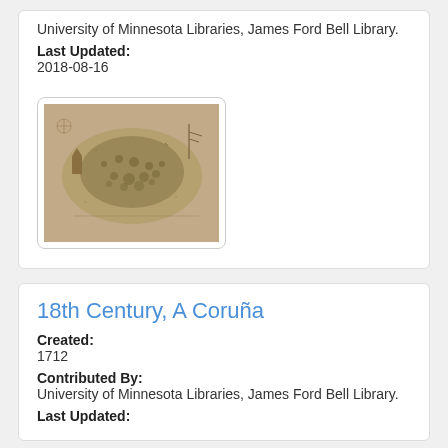University of Minnesota Libraries, James Ford Bell Library.
Last Updated:
2018-08-16
[Figure (map): Thumbnail of an old historical map, sepia-toned with detailed geographic features and illustrations.]
18th Century, A Coruña
Created:
1712
Contributed By:
University of Minnesota Libraries, James Ford Bell Library.
Last Updated: